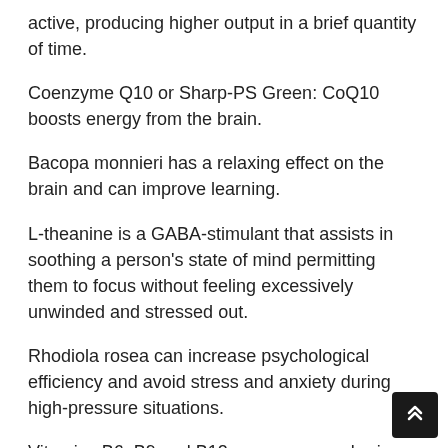active, producing higher output in a brief quantity of time.
Coenzyme Q10 or Sharp-PS Green: CoQ10 boosts energy from the brain.
Bacopa monnieri has a relaxing effect on the brain and can improve learning.
L-theanine is a GABA-stimulant that assists in soothing a person's state of mind permitting them to focus without feeling excessively unwinded and stressed out.
Rhodiola rosea can increase psychological efficiency and avoid stress and anxiety during high-pressure situations.
Vitamins B6, B9 and B12 are necessary brain vitamins needed for the body to keep the brain